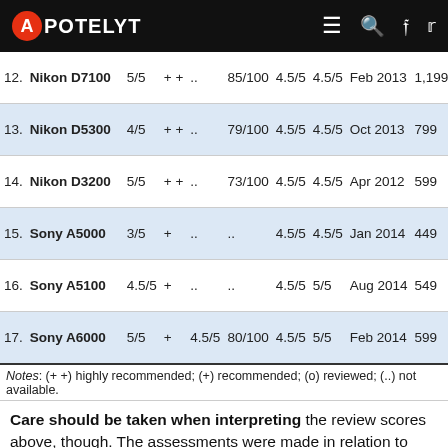APOTELYT
| # | Camera | Rating | Rec | Review | Score | Val | Pop | Date | Price |  |
| --- | --- | --- | --- | --- | --- | --- | --- | --- | --- | --- |
| 12. | Nikon D7100 | 5/5 | ++ | .. | 85/100 | 4.5/5 | 4.5/5 | Feb 2013 | 1,199 |  |
| 13. | Nikon D5300 | 4/5 | ++ | .. | 79/100 | 4.5/5 | 4.5/5 | Oct 2013 | 799 |  |
| 14. | Nikon D3200 | 5/5 | ++ | .. | 73/100 | 4.5/5 | 4.5/5 | Apr 2012 | 599 |  |
| 15. | Sony A5000 | 3/5 | + | .. | .. | 4.5/5 | 4.5/5 | Jan 2014 | 449 |  |
| 16. | Sony A5100 | 4.5/5 | + | .. | .. | 4.5/5 | 5/5 | Aug 2014 | 549 |  |
| 17. | Sony A6000 | 5/5 | + | 4.5/5 | 80/100 | 4.5/5 | 5/5 | Feb 2014 | 599 |  |
Notes: (++) highly recommended; (+) recommended; (o) reviewed; (..) not available.
Care should be taken when interpreting the review scores above, though. The assessments were made in relation to similar cameras of the same technological generation. A score, therefore, has to be seen in close connection to the price and market introduction time of the camera, and rating-comparisons among cameras that span long time periods or concern very differently equipped models make little sense. Also, kindly note that some of the